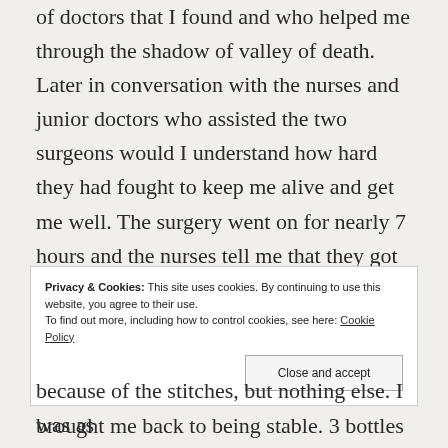of doctors that I found and who helped me through the shadow of valley of death. Later in conversation with the nurses and junior doctors who assisted the two surgeons would I understand how hard they had fought to keep me alive and get me well. The surgery went on for nearly 7 hours and the nurses tell me that they got tired but not once did Dr. Gaikwad or Dr. Bhat flagged. I had been told at one point my Blood Pressure kept free falling risking a heart attack and somehow, they brought me back to being stable. 3 bottles of blood had been set aside for my operation, but my blood
Privacy & Cookies: This site uses cookies. By continuing to use this website, you agree to their use. To find out more, including how to control cookies, see here: Cookie Policy
because of the stitches, but nothing else. I was as